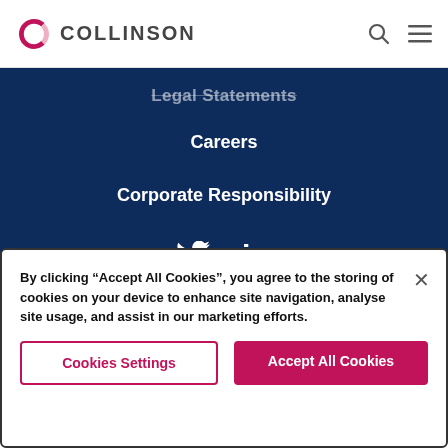Collinson
Legal Statements
Careers
Corporate Responsibility
[Figure (other): Twitter and LinkedIn social media icons in white on navy background]
By clicking "Accept All Cookies", you agree to the storing of cookies on your device to enhance site navigation, analyse site usage, and assist in our marketing efforts.
Cookies Settings
Accept All Cookies